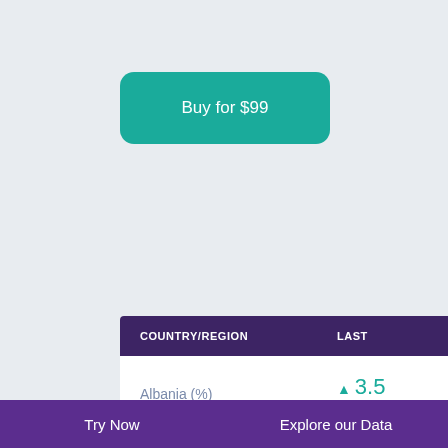Buy for $99
| COUNTRY/REGION | LAST |
| --- | --- |
| Albania (%) | ▲ 3.5 Jun 2022 |
| Algeria (%) | ▲ 13.4 Sep 2021 |
| Argentina (%) | ▲ 59.3 Jun 2022 |
| Armenia (%) | ▼ 10.9 Jun 2022 |
Try Now
Explore our Data